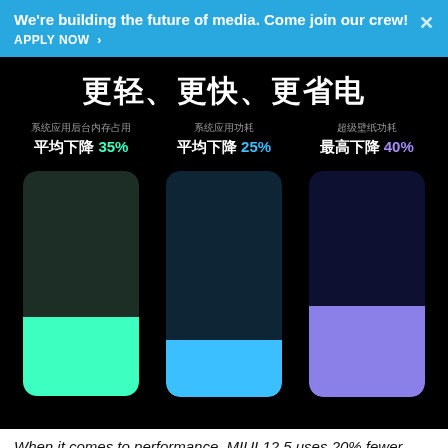We're building the future of media. Come join our crew! APPLY NOW >
[Figure (infographic): MIUI 12.5 performance infographic on black background. Title in Chinese: 更轻、更快、更省电 (Lighter, faster, more power-saving). Three columns each showing a stat and a bar chart visual: 1) 系统应用后台内存占用 平均下降 35% (green), 2) 系统应用功耗 平均下降 25% (blue), 3) 超级壁纸功耗 最高下降 40% (purple). Each column shows a vertical bar with a dark top portion and a colored bottom portion representing the reduction.]
When it comes to performance, MIUI 12.5 uses 20% fewer